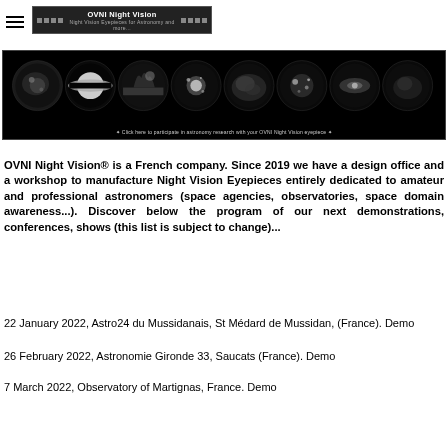OVNI Night Vision — logo banner and navigation
[Figure (illustration): Astronomy banner showing 8 circular celestial images (planets, nebulae, galaxies) on a black background with caption 'Click here to participate in astronomy research with your OVNI Night Vision eyepiece']
OVNI Night Vision® is a French company. Since 2019 we have a design office and a workshop to manufacture Night Vision Eyepieces entirely dedicated to amateur and professional astronomers (space agencies, observatories, space domain awareness...). Discover below the program of our next demonstrations, conferences, shows (this list is subject to change)...
22 January 2022, Astro24 du Mussidanais, St Médard de Mussidan, (France). Demo
26 February 2022, Astronomie Gironde 33, Saucats (France). Demo
7 March 2022, Observatory of Martignas, France. Demo